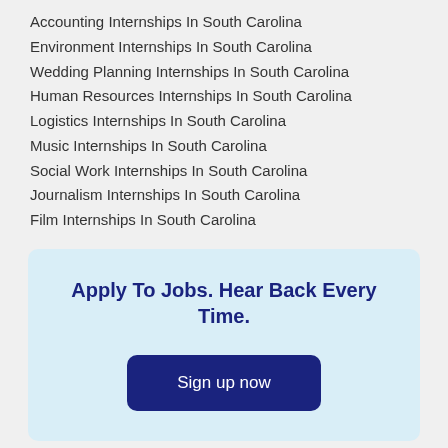Accounting Internships In South Carolina
Environment Internships In South Carolina
Wedding Planning Internships In South Carolina
Human Resources Internships In South Carolina
Logistics Internships In South Carolina
Music Internships In South Carolina
Social Work Internships In South Carolina
Journalism Internships In South Carolina
Film Internships In South Carolina
Apply To Jobs. Hear Back Every Time.
Sign up now